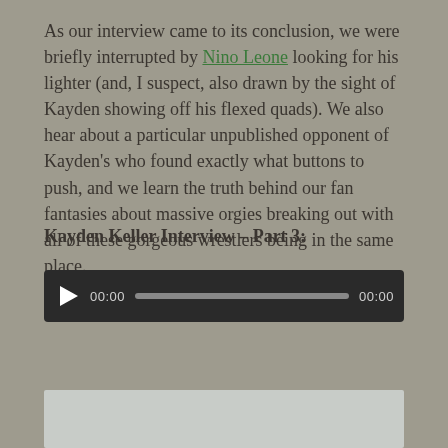As our interview came to its conclusion, we were briefly interrupted by Nino Leone looking for his lighter (and, I suspect, also drawn by the sight of Kayden showing off his flexed quads). We also hear about a particular unpublished opponent of Kayden's who found exactly what buttons to push, and we learn the truth behind our fan fantasies about massive orgies breaking out with all of these gorgeous wrestlers being in the same place.
Kayden Keller Interview – Part 3:
[Figure (other): Audio/video media player widget with dark background, play button (triangle), time display 00:00, progress bar, and end time 00:00]
[Figure (photo): Partial video thumbnail showing a light gray/blue background, cropped at bottom of page]